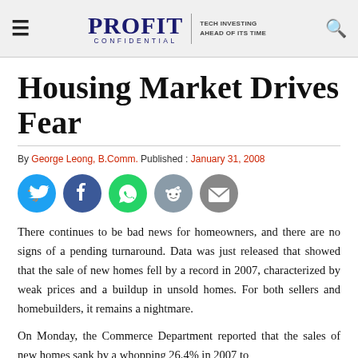PROFIT CONFIDENTIAL | TECH INVESTING AHEAD OF ITS TIME
Housing Market Drives Fear
By George Leong, B.Comm. Published : January 31, 2008
[Figure (other): Social sharing icons: Twitter, Facebook, WhatsApp, Reddit, Email]
There continues to be bad news for homeowners, and there are no signs of a pending turnaround. Data was just released that showed that the sale of new homes fell by a record in 2007, characterized by weak prices and a buildup in unsold homes. For both sellers and homebuilders, it remains a nightmare.
On Monday, the Commerce Department reported that the sales of new homes sank by a whopping 26.4% in 2007 to